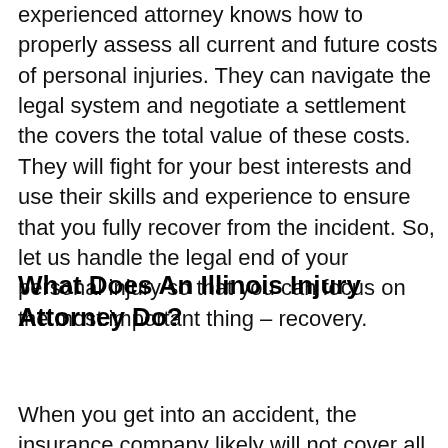experienced attorney knows how to properly assess all current and future costs of personal injuries. They can navigate the legal system and negotiate a settlement the covers the total value of these costs. They will fight for your best interests and use their skills and experience to ensure that you fully recover from the incident. So, let us handle the legal end of your personal injury so that you can focus on the most important thing – recovery.
What Does An Illinois Injury Attorney Do?
When you get into an accident, the insurance company likely will not cover all